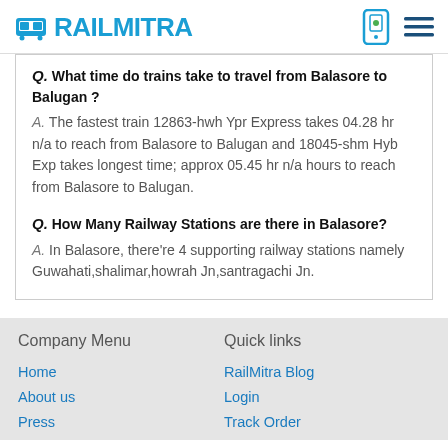RAILMITRA
Q. What time do trains take to travel from Balasore to Balugan ? A. The fastest train 12863-hwh Ypr Express takes 04.28 hr n/a to reach from Balasore to Balugan and 18045-shm Hyb Exp takes longest time; approx 05.45 hr n/a hours to reach from Balasore to Balugan.
Q. How Many Railway Stations are there in Balasore? A. In Balasore, there're 4 supporting railway stations namely Guwahati,shalimar,howrah Jn,santragachi Jn.
Company Menu
Quick links
Home
About us
Press
RailMitra Blog
Login
Track Order